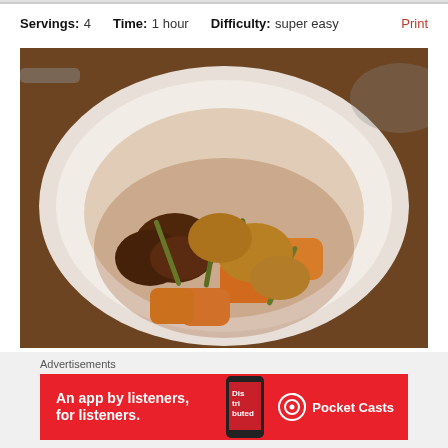Servings: 4   Time: 1 hour   Difficulty: super easy   Print
[Figure (photo): A plate of braised chicken with sweet potatoes, green beans, and mushrooms in a dark sauce, served on a white round plate on a wooden surface.]
A one-pan wonder that's well worth your time... not that it'll take long to fill! Because the flavors will fill the
Advertisements
[Figure (other): Red Pocket Casts advertisement banner reading 'An app by listeners, for listeners.' with a phone showing the Distribed app and the Pocket Casts logo.]